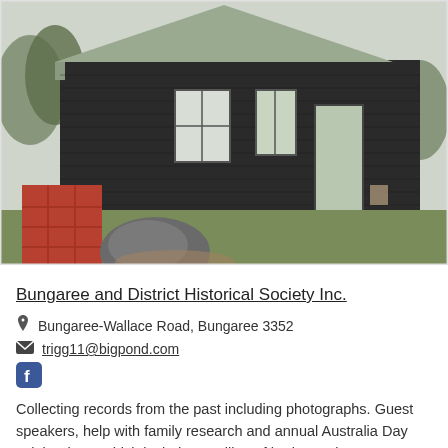[Figure (photo): Exterior photograph of a dark weatherboard historical building with a grey roof, two windows and a door visible on the side wall. A red brick/wooden panel structure and a large rock are visible in the foreground on grass.]
Bungaree and District Historical Society Inc.
Bungaree-Wallace Road, Bungaree 3352
trigg11@bigpond.com
Collecting records from the past including photographs. Guest speakers, help with family research and annual Australia Day celebrations, which include unveiling of heritage plaques recognising the local families who made the